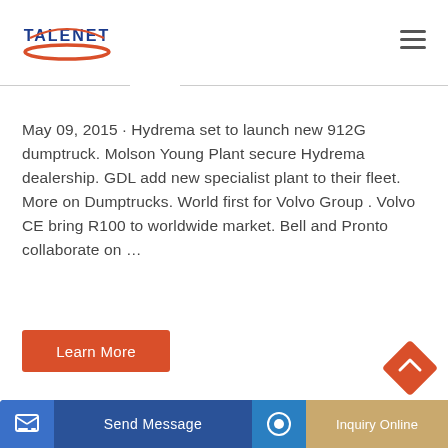TALENET
May 09, 2015 · Hydrema set to launch new 912G dumptruck. Molson Young Plant secure Hydrema dealership. GDL add new specialist plant to their fleet. More on Dumptrucks. World first for Volvo Group . Volvo CE bring R100 to worldwide market. Bell and Pronto collaborate on ...
Learn More
Send Message
Inquiry Online